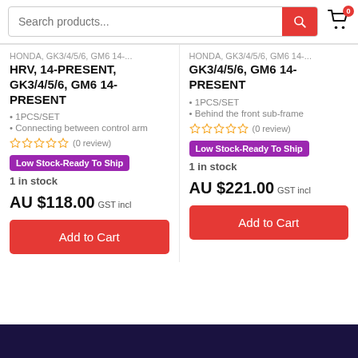Search products...
HONDA, GK3/4/5/6, GM6 14-PRESENT, HRV, 14-PRESENT, GK3/4/5/6, GM6 14-PRESENT
• 1PCS/SET
• Connecting between control arm
Low Stock-Ready To Ship
1 in stock
AU $118.00 GST incl
HONDA, GK3/4/5/6, GM6 14-PRESENT, GK3/4/5/6, GM6 14-PRESENT
• 1PCS/SET
• Behind the front sub-frame
Low Stock-Ready To Ship
1 in stock
AU $221.00 GST incl